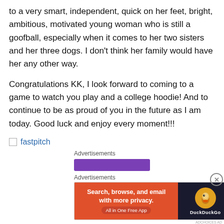to a very smart, independent, quick on her feet, bright, ambitious, motivated young woman who is still a goofball, especially when it comes to her two sisters and her three dogs. I don't think her family would have her any other way.
Congratulations KK, I look forward to coming to a game to watch you play and a college hoodie! And to continue to be as proud of you in the future as I am today. Good luck and enjoy every moment!!!
[Figure (other): fastpitch tag/label link with small image placeholder]
Advertisements
[Figure (other): Purple advertisement bar]
Advertisements
[Figure (other): DuckDuckGo advertisement banner: Search, browse, and email with more privacy. All in One Free App]